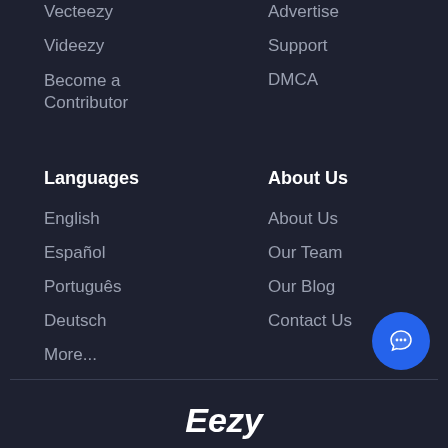Vecteezy
Advertise
Videezy
Support
Become a Contributor
DMCA
Languages
About Us
English
About Us
Español
Our Team
Português
Our Blog
Deutsch
Contact Us
More...
Eezy